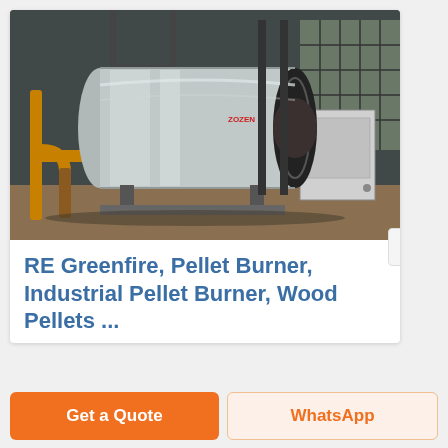[Figure (photo): Industrial horizontal boiler/pressure vessel with polished stainless steel cladding, black flanged end cap with circular opening, mounted on frame in a factory/warehouse setting. Yellow pipes visible on the left side. A control cabinet is visible on the right.]
RE Greenfire, Pellet Burner, Industrial Pellet Burner, Wood Pellets ...
Get a Quote
WhatsApp